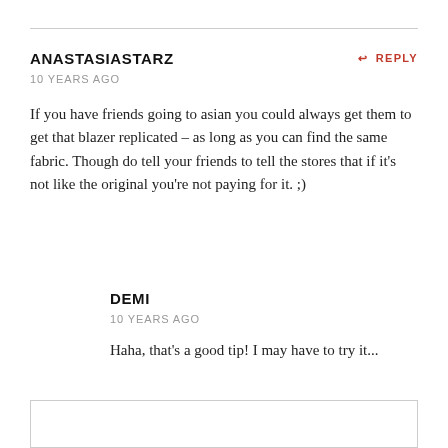ANASTASIASTARZ
10 YEARS AGO
If you have friends going to asian you could always get them to get that blazer replicated – as long as you can find the same fabric. Though do tell your friends to tell the stores that if it's not like the original you're not paying for it. ;)
DEMI
10 YEARS AGO
Haha, that's a good tip! I may have to try it...
LEAVE A COMMENT